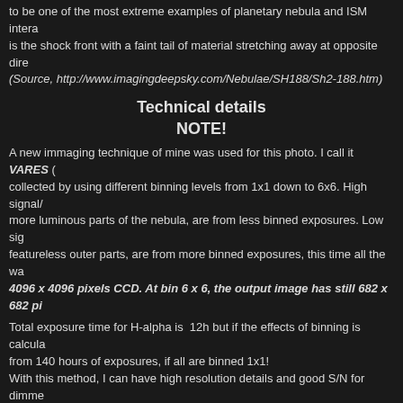to be one of the most extreme examples of planetary nebula and ISM intera... is the shock front with a faint tail of material stretching away at opposite dire... (Source, http://www.imagingdeepsky.com/Nebulae/SH188/Sh2-188.htm)
Technical details
NOTE!
A new immaging technique of mine was used for this photo. I call it VARES (... collected by using different binning levels from 1x1 down to 6x6. High signal/... more luminous parts of the nebula, are from less binned exposures. Low sig... featureless outer parts, are from more binned exposures, this time all the wa... 4096 x 4096 pixels CCD. At bin 6 x 6, the output image has still 682 x 682 pi...
Total exposure time for H-alpha is 12h but if the effects of binning is calcula... from 140 hours of exposures, if all are binned 1x1!
With this method, I can have high resolution details and good S/N for dimme... minimal exposure time.
In near future, I will write a tutorial about the VARES method. It might take so...
Processing work flow
Image acquisition, MaxiDL v5.07
Stacked and calibrated in CCDStac...
Deconvolution with a CCDStack2 Positive Constraint, 33 iter.
Color combine in PS CS3
Levels and curves in PS CS3.
Imaging optics